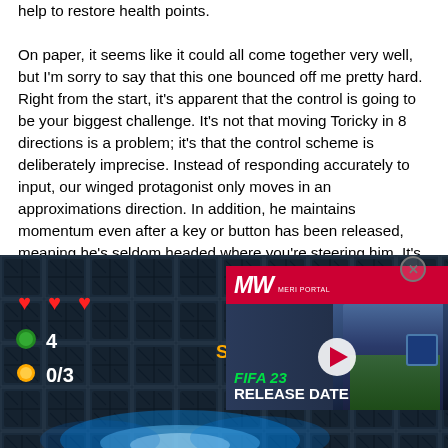help to restore health points.

On paper, it seems like it could all come together very well, but I'm sorry to say that this one bounced off me pretty hard. Right from the start, it's apparent that the control is going to be your biggest challenge. It's not that moving Toricky in 8 directions is a problem; it's that the control scheme is deliberately imprecise. Instead of responding accurately to input, our winged protagonist only moves in an approximations direction. In addition, he maintains momentum even after a key or button has been released, meaning he's seldom headed where you're steering him. It's all very frustrating and ends up being a chore, as Toricky frequently crashes into an obsta
[Figure (screenshot): Game screenshot showing a side-scrolling game with hearts (health), score 4, counter 0/3, Japanese text 潜水艦 and 'Submarine' text, metallic tile background with glowing blue effects at the bottom]
[Figure (screenshot): Advertisement overlay for FIFA 23 Release Date by Meri Portal, showing a football player looking up, with a play button in the center]